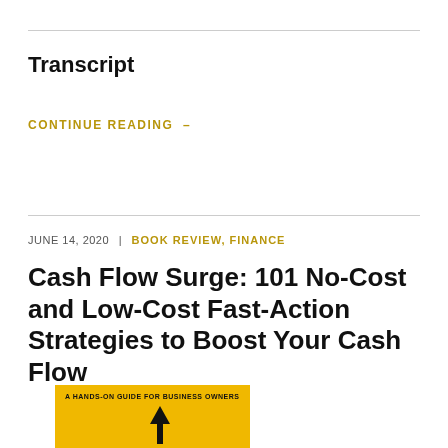Transcript
CONTINUE READING →
JUNE 14, 2020  |  BOOK REVIEW, FINANCE
Cash Flow Surge: 101 No-Cost and Low-Cost Fast-Action Strategies to Boost Your Cash Flow
[Figure (illustration): Yellow book cover with text 'A HANDS-ON GUIDE FOR BUSINESS OWNERS' and an upward-pointing arrow]